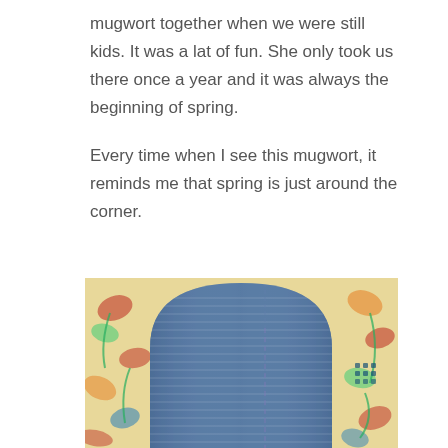mugwort together when we were still kids. It was a lat of fun. She only took us there once a year and it was always the beginning of spring.
Every time when I see this mugwort, it reminds me that spring is just around the corner.
[Figure (photo): A folded piece of blue denim or indigo-dyed fabric with visible stitching/texture, placed on a floral patterned surface (cream background with red, blue, and green floral motifs).]